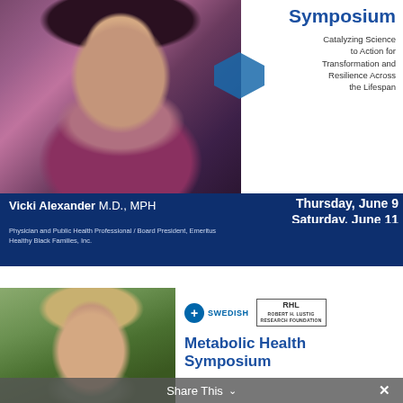Symposium
Catalyzing Science to Action for Transformation and Resilience Across the Lifespan
Thursday, June 9
Saturday, June 11
In-person at Renaissance Seattle Hotel and Live, Virtual Broadcast
Vicki Alexander M.D., MPH
Physician and Public Health Professional / Board President, Emeritus Healthy Black Families, Inc.
[Figure (photo): Portrait photo of Vicki Alexander, a woman with curly hair wearing glasses and a magenta turtleneck, smiling]
[Figure (logo): Swedish health system logo with blue circle cross and text SWEDISH]
[Figure (logo): Robert H. Lustig Research Foundation logo with RHL initials in a box]
Metabolic Health Symposium
[Figure (photo): Portrait photo of a woman with long blonde hair smiling outdoors with green background]
Share This